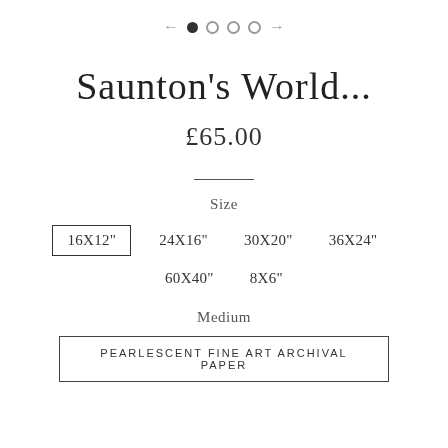[Figure (other): Navigation pagination bar with left arrow, one filled circle dot, three empty circle dots, and right arrow]
Saunton's World...
£65.00
Size
16X12"  24X16"  30X20"  36X24"
60X40"  8X6"
Medium
PEARLESCENT FINE ART ARCHIVAL PAPER